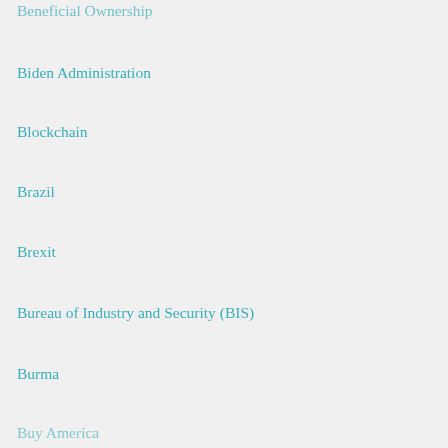Beneficial Ownership
Biden Administration
Blockchain
Brazil
Brexit
Bureau of Industry and Security (BIS)
Burma
Buy America
CAATSA
Canada
Canada Retaliatory Tariffs
CARES Act
Chile